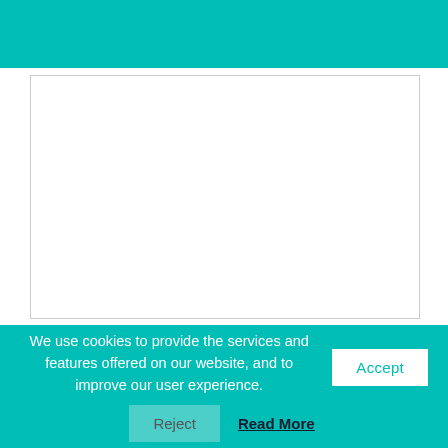[Figure (other): Teal/turquoise top banner header area]
[Figure (other): White rectangular box with light gray border, representing a content area or image placeholder]
We use cookies to provide the services and features offered on our website, and to improve our user experience.
Accept
Reject
Read More